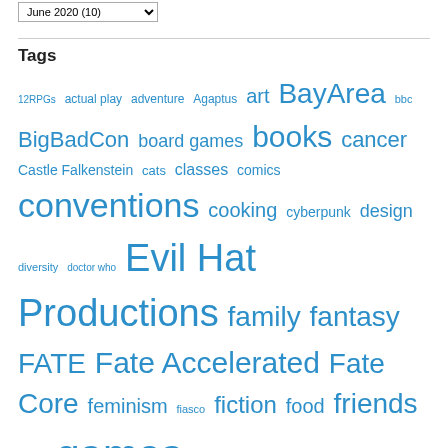June 2020 (10)
Tags
12RPGs actual play adventure Agaptus art BayArea bbc BigBadCon board games books cancer Castle Falkenstein cats classes comics conventions cooking cyberpunk design diversity doctor who Evil Hat Productions family fantasy FATE Fate Accelerated Fate Core feminism fiasco fiction food friends funny games gm advice Green Ronin health heist history holidays horror how-to humanism illness LARPs learning miniatures movies mysteries PbtA photography playtesting